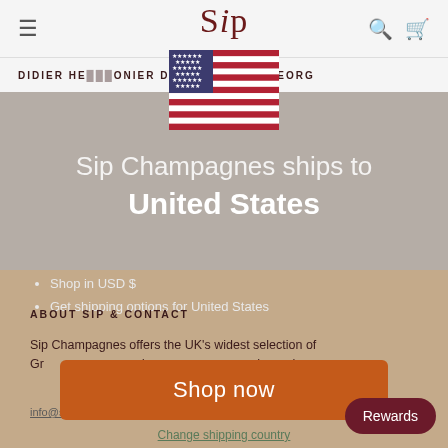Sip
DIDIER HE... ONIER DH2   GEORG T
[Figure (illustration): United States flag]
Sip Champagnes ships to United States
Shop in USD $
Get shipping options for United States
ABOUT SIP & CONTACT
Sip Champagnes offers the UK's widest selection of Gr... d an... anywhere else.
Shop now
Change shipping country
info@sipchampagnes.com
Rewards